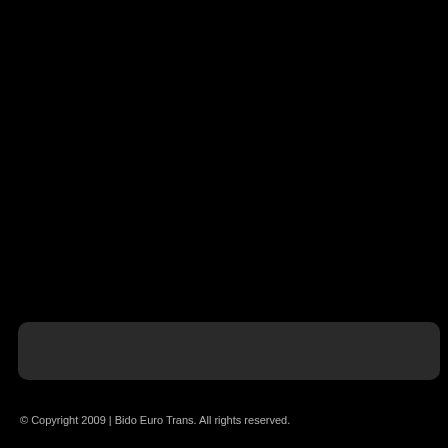[Figure (other): Dark rounded bar/banner element on black background]
© Copyright 2009 | Bido Euro Trans. All rights reserved.